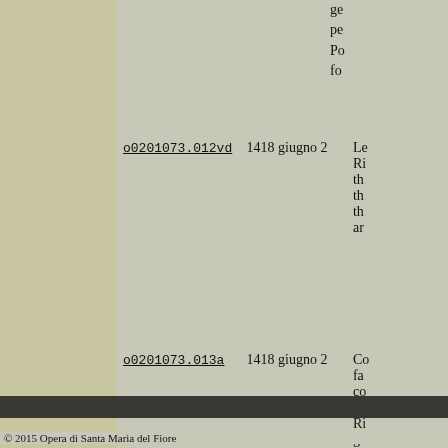| ID | Date | Description |
| --- | --- | --- |
| o0201073.012vd | 1418 giugno 2 | Le Ri th th th ar |
| o0201073.013a | 1418 giugno 2 | Co fa co se Ri ga pe th |
| o0201074.010d | 1418 agosto 23 | Re |
© 2015 Opera di Santa Maria del Fiore